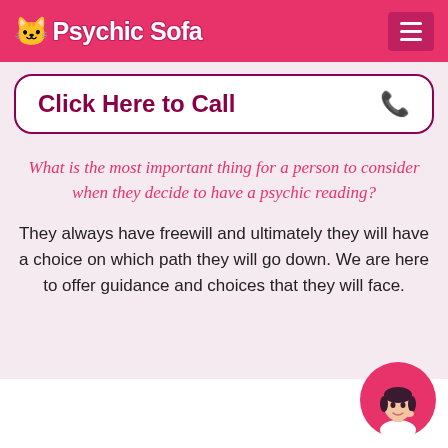Psychic Sofa
Click Here to Call
What is the most important thing for a person to consider when they decide to have a psychic reading?
They always have freewill and ultimately they will have a choice on which path they will go down. We are here to offer guidance and choices that they will face.
[Figure (illustration): Circular avatar illustration of a cartoon woman with dark hair, wearing white, posed with hand near face, on a pink circle background]